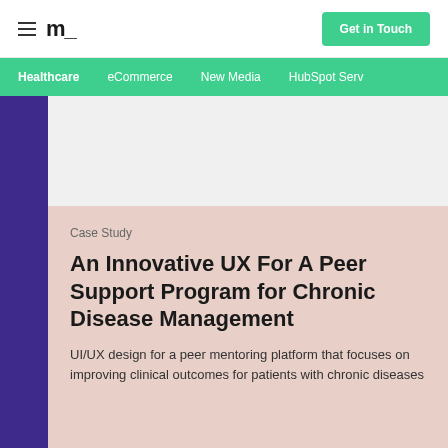m_ | Get in Touch
Healthcare | eCommerce | New Media | HubSpot Serv
Case Study
An Innovative UX For A Peer Support Program for Chronic Disease Management
UI/UX design for a peer mentoring platform that focuses on improving clinical outcomes for patients with chronic diseases